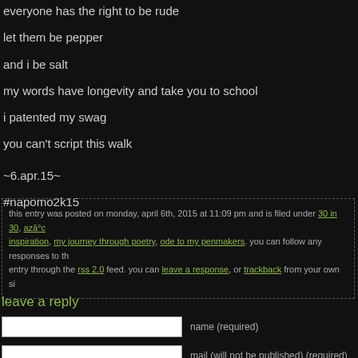everyone has the right to be rude
let them be pepper
and i be salt
my words have longevity and take you to school
i patented my swag
you can't script this walk
~6.apr.15~
#napomo2k15
this entry was posted on monday, april 6th, 2015 at 11:09 pm and is filed under 30 in 30, azā°c inspiration, my journey through poetry, ode to my penmakers. you can follow any responses to this entry through the rss 2.0 feed. you can leave a response, or trackback from your own site.
leave a reply
name (required)
mail (will not be published) (required)